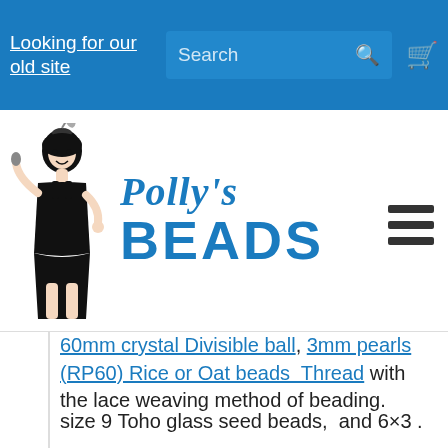Looking for our old site  Search
[Figure (logo): Polly's Beads logo with illustrated retro woman and stylized text]
60mm crystal Divisible ball, 3mm pearls (RP60) Rice or Oat beads Thread with the lace weaving method of beading.
size 9 Toho glass seed beads, and 6×3 .
Can also be purchased as a Kit. Kits contain all the materials needed to make this item and a full set of instructions.